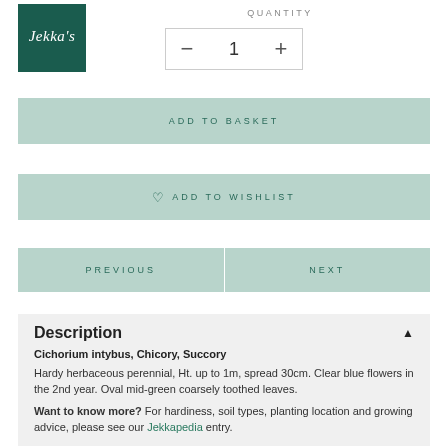[Figure (logo): Jekka's brand logo — dark green square with white italic text 'Jekka's']
QUANTITY
— 1 +
ADD TO BASKET
ADD TO WISHLIST
PREVIOUS
NEXT
Description
Cichorium intybus, Chicory, Succory
Hardy herbaceous perennial, Ht. up to 1m, spread 30cm. Clear blue flowers in the 2nd year. Oval mid-green coarsely toothed leaves.
Want to know more? For hardiness, soil types, planting location and growing advice, please see our Jekkapedia entry.